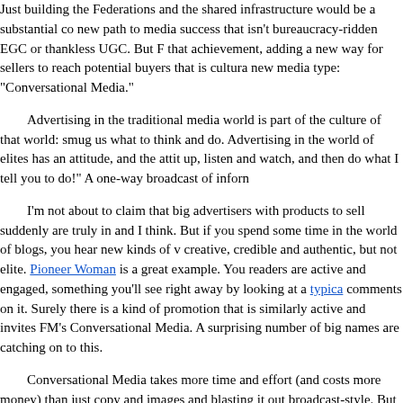Just building the Federations and the shared infrastructure would be a substantial co new path to media success that isn't bureaucracy-ridden EGC or thankless UGC. But F that achievement, adding a new way for sellers to reach potential buyers that is cultura new media type: "Conversational Media."
Advertising in the traditional media world is part of the culture of that world: smug us what to think and do. Advertising in the world of elites has an attitude, and the attit up, listen and watch, and then do what I tell you to do!" A one-way broadcast of inforn
I'm not about to claim that big advertisers with products to sell suddenly are truly in and I think. But if you spend some time in the world of blogs, you hear new kinds of v creative, credible and authentic, but not elite. Pioneer Woman is a great example. You readers are active and engaged, something you'll see right away by looking at a typica comments on it. Surely there is a kind of promotion that is similarly active and invites FM's Conversational Media. A surprising number of big names are catching on to this.
Conversational Media takes more time and effort (and costs more money) than just copy and images and blasting it out broadcast-style. But you get what you pay for. The Conversational Media is that it fits into the blogs more smoothly than old-style stuff, a people like Pioneer Woman to be appropriately rewarded for her creative PGC. This is simply did not exist in the old world of EGC, and we're all better off for it.